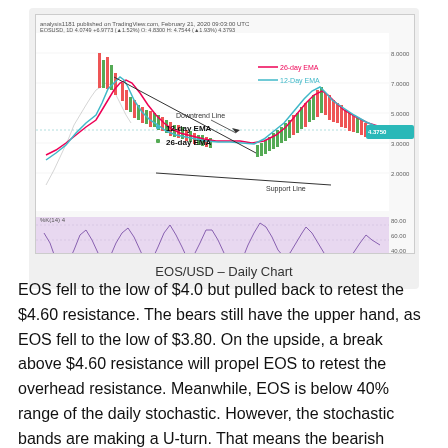[Figure (continuous-plot): EOS/USD daily candlestick chart with 12-day EMA (cyan), 26-day EMA (red), downtrend line, support line annotations, and stochastic oscillator panel below. Chart shows price from Jun to Mar timeframe.]
EOS/USD – Daily Chart
EOS fell to the low of $4.0 but pulled back to retest the $4.60 resistance. The bears still have the upper hand, as EOS fell to the low of $3.80. On the upside, a break above $4.60 resistance will propel EOS to retest the overhead resistance. Meanwhile, EOS is below 40% range of the daily stochastic. However, the stochastic bands are making a U-turn. That means the bearish